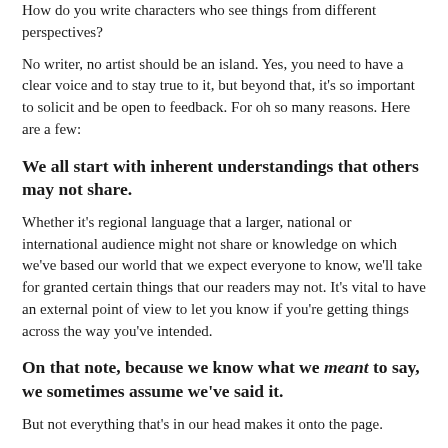How do you write characters who see things from different perspectives?
No writer, no artist should be an island. Yes, you need to have a clear voice and to stay true to it, but beyond that, it's so important to solicit and be open to feedback. For oh so many reasons. Here are a few:
We all start with inherent understandings that others may not share.
Whether it's regional language that a larger, national or international audience might not share or knowledge on which we've based our world that we expect everyone to know, we'll take for granted certain things that our readers may not. It's vital to have an external point of view to let you know if you're getting things across the way you've intended.
On that note, because we know what we meant to say, we sometimes assume we've said it.
But not everything that's in our head makes it onto the page.